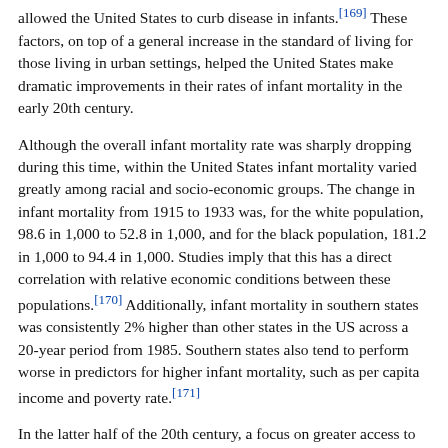allowed the United States to curb disease in infants.[169] These factors, on top of a general increase in the standard of living for those living in urban settings, helped the United States make dramatic improvements in their rates of infant mortality in the early 20th century.
Although the overall infant mortality rate was sharply dropping during this time, within the United States infant mortality varied greatly among racial and socio-economic groups. The change in infant mortality from 1915 to 1933 was, for the white population, 98.6 in 1,000 to 52.8 in 1,000, and for the black population, 181.2 in 1,000 to 94.4 in 1,000. Studies imply that this has a direct correlation with relative economic conditions between these populations.[170] Additionally, infant mortality in southern states was consistently 2% higher than other states in the US across a 20-year period from 1985. Southern states also tend to perform worse in predictors for higher infant mortality, such as per capita income and poverty rate.[171]
In the latter half of the 20th century, a focus on greater access to medical care for women spurred declines in infant mortality in the United States. The implementation of Medicaid, granting wider access to healthcare, contributed to a dramatic decrease in infant mortality, in addition to access to greater access to legal abortion and family-planning care, such the IUD and the birth control pill.